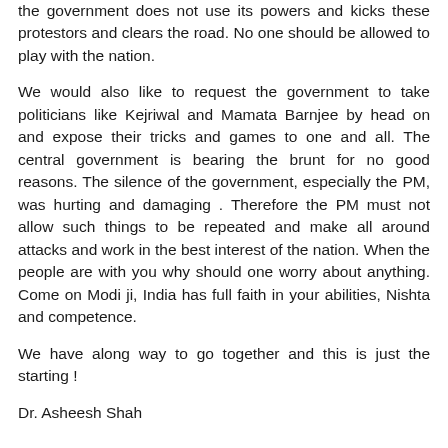the government does not use its powers and kicks these protestors and clears the road. No one should be allowed to play with the nation.
We would also like to request the government to take politicians like Kejriwal and Mamata Barnjee by head on and expose their tricks and games to one and all. The central government is bearing the brunt for no good reasons. The silence of the government, especially the PM, was hurting and damaging . Therefore the PM must not allow such things to be repeated and make all around attacks and work in the best interest of the nation. When the people are with you why should one worry about anything. Come on Modi ji, India has full faith in your abilities, Nishta and competence.
We have along way to go together and this is just the starting !
Dr. Asheesh Shah